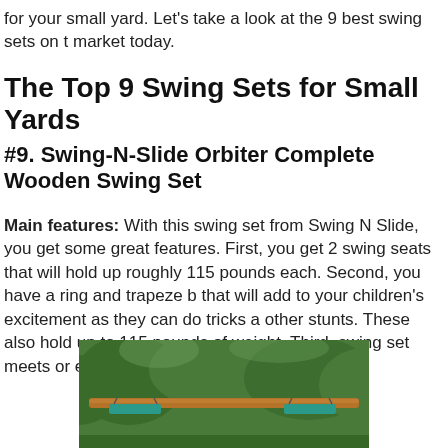for your small yard. Let's take a look at the 9 best swing sets on the market today.
The Top 9 Swing Sets for Small Yards
#9. Swing-N-Slide Orbiter Complete Wooden Swing Set
Main features: With this swing set from Swing N Slide, you get some great features. First, you get 2 swing seats that will hold up roughly 115 pounds each. Second, you have a ring and trapeze bar that will add to your children's excitement as they can do tricks and other stunts. These also hold up to 115 pounds of weight. Third, swing set meets or exceeds ASTM regulations.
[Figure (photo): Photo of the Swing-N-Slide Orbiter wooden swing set with teal/green colored seats and a horizontal wooden beam, set against a background of green trees.]